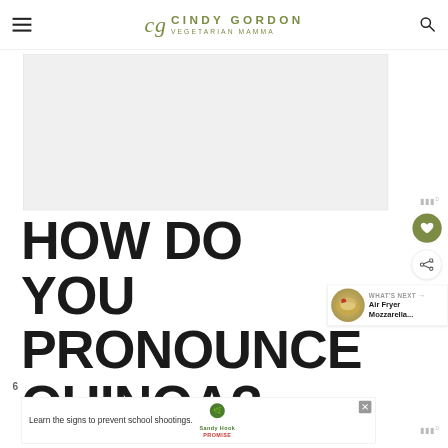cg CINDY GORDON VEGETARIAN MAMMA
[Figure (other): Advertisement banner placeholder (gray box)]
HOW DO YOU PRONOUNCE QUINOA?
[Figure (other): WHAT'S NEXT arrow - Air Fryer Mozzarella... sidebar card with food thumbnail]
[Figure (other): Bottom advertisement banner: Learn the signs to prevent school shootings. Sandy Hook Promise logo with tree icon and close button]